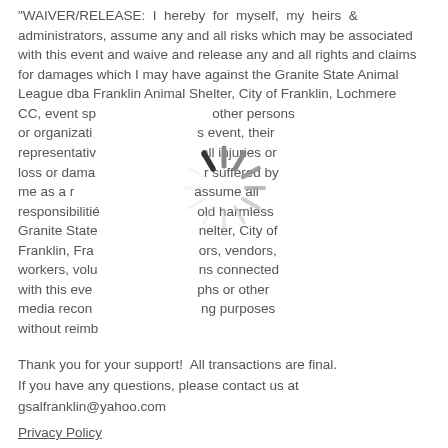"WAIVER/RELEASE:  I hereby for myself, my heirs & administrators, assume any and all risks which may be associated with this event and waive and release any and all rights and claims for damages which I may have against the Granite State Animal League dba Franklin Animal Shelter, City of Franklin, Lochmere CC, event sp[onsors, sp]other persons or organizati[ons involved with thi]s event, their representativ[es, employees, from ]all injuries or loss or dama[ge of any kind whateve]r suffered by me as a r[esult of participation, and ]assume all responsibilitie[s...and agree to h]old harmless Granite State[ Animal League, Franklin An]uelter, City of Franklin, Fra[nklin Animal Shelter, direct]ors, vendors, workers, volu[nteers, and all other person]ns connected with this eve[nt. I consent to use of photogra]phs or other media recor[dings for advertising/marketin]ng purposes without reimb[ursement.]
[Figure (other): Loading spinner/throbber overlay in center of page, partially obscuring text]
Thank you for your support!  All transactions are final.
If you have any questions, please contact us at gsalfranklin@yahoo.com
Privacy Policy